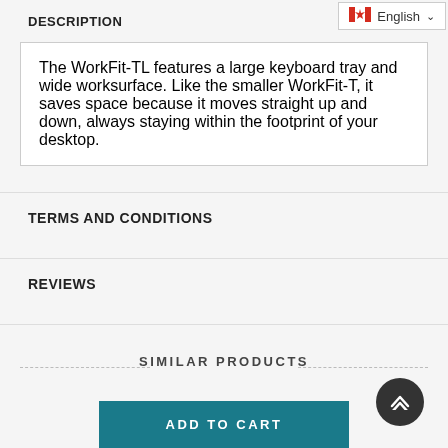DESCRIPTION
The WorkFit-TL features a large keyboard tray and wide worksurface. Like the smaller WorkFit-T, it saves space because it moves straight up and down, always staying within the footprint of your desktop.
TERMS AND CONDITIONS
REVIEWS
SIMILAR PRODUCTS
ADD TO CART